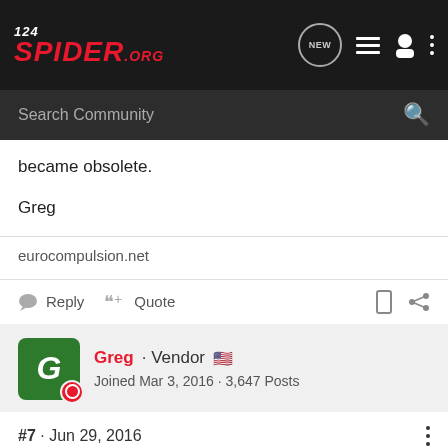124SPIDER.ORG — Search Community
became obsolete.
Greg
eurocompulsion.net
Reply  Quote
Greg · Vendor 🇺🇸
Joined Mar 3, 2016 · 3,647 Posts
#7 · Jun 29, 2016